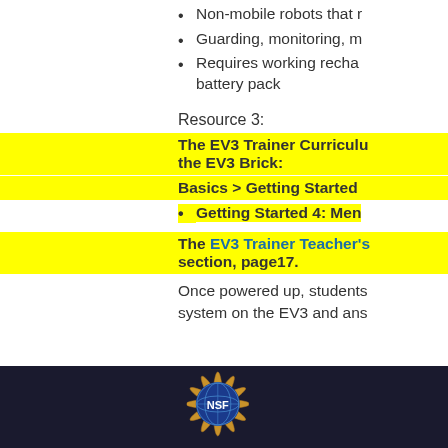Non-mobile robots that
Guarding, monitoring, m
Requires working recha battery pack
Resource 3:
The EV3 Trainer Curriculum the EV3 Brick:
Basics > Getting Started
Getting Started 4: Men
The EV3 Trainer Teacher's section, page17.
Once powered up, students system on the EV3 and ans
[Figure (logo): NSF logo and footer bar on dark background]